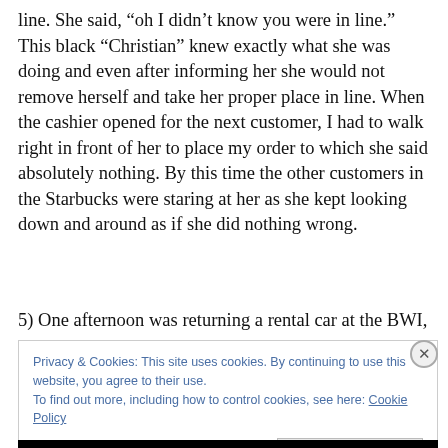line.  She said, “oh I didn’t know you were in line.”  This black “Christian” knew exactly what she was doing and even after informing her she would not remove herself and take her proper place in line.  When the cashier opened for the next customer, I had to walk right in front of her to place my order to which she said absolutely nothing.  By this time the other customers in the Starbucks were staring at her as she kept looking down and around as if she did nothing wrong.
5) One afternoon was returning a rental car at the BWI,
Privacy & Cookies: This site uses cookies. By continuing to use this website, you agree to their use.
To find out more, including how to control cookies, see here: Cookie Policy

Close and accept